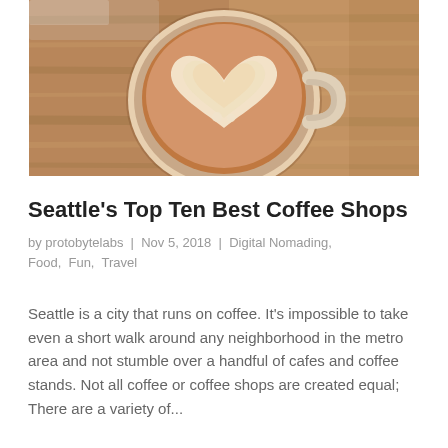[Figure (photo): Aerial view of a latte coffee cup with heart-shaped latte art on a rustic wooden table]
Seattle's Top Ten Best Coffee Shops
by protobytelabs | Nov 5, 2018 | Digital Nomading, Food, Fun, Travel
Seattle is a city that runs on coffee. It's impossible to take even a short walk around any neighborhood in the metro area and not stumble over a handful of cafes and coffee stands. Not all coffee or coffee shops are created equal; There are a variety of...